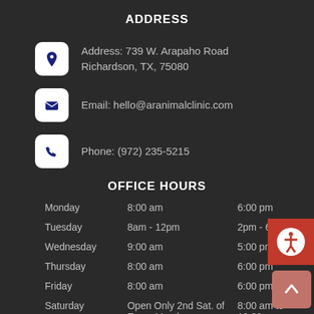ADDRESS
Address: 739 W. Arapaho Road
Richardson, TX, 75080
Email: hello@aranimalclinic.com
Phone: (972) 235-5215
OFFICE HOURS
| Day | Open | Close |
| --- | --- | --- |
| Monday | 8:00 am | 6:00 pm |
| Tuesday | 8am - 12pm | 2pm - 6pm |
| Wednesday | 9:00 am | 5:00 pm |
| Thursday | 8:00 am | 6:00 pm |
| Friday | 8:00 am | 6:00 pm |
| Saturday | Open Only 2nd Sat. of Every Month | 8:00 am to 12:00 pm |